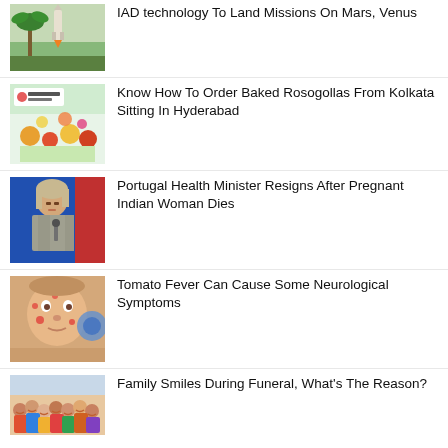[Figure (photo): Rocket launch with palm tree in background]
IAD technology To Land Missions On Mars, Venus
[Figure (photo): Intercity Legends food delivery promotional image with colorful food items]
Know How To Order Baked Rosogollas From Kolkata Sitting In Hyderabad
[Figure (photo): Woman speaking at podium or press conference, Portugal Health Minister]
Portugal Health Minister Resigns After Pregnant Indian Woman Dies
[Figure (photo): Baby or young child with red spots on face, likely tomato fever]
Tomato Fever Can Cause Some Neurological Symptoms
[Figure (photo): Group of people smiling at a funeral]
Family Smiles During Funeral, What's The Reason?